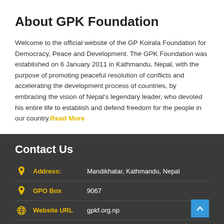About GPK Foundation
Welcome to the official website of the GP Koirala Foundation for Democracy, Peace and Development. The GPK Foundation was established on 6 January 2011 in Kathmandu, Nepal, with the purpose of promoting peaceful resolution of conflicts and accelerating the development process of countries, by embracing the vision of Nepal's legendary leader, who devoted his entire life to establish and defend freedom for the people in our country. Read More
Contact Us
Address: Mandikhatar, Kathmandu, Nepal
GPO Box 9067
Website URL gpkf.org.np
Email: gpkcenter@gmail.com